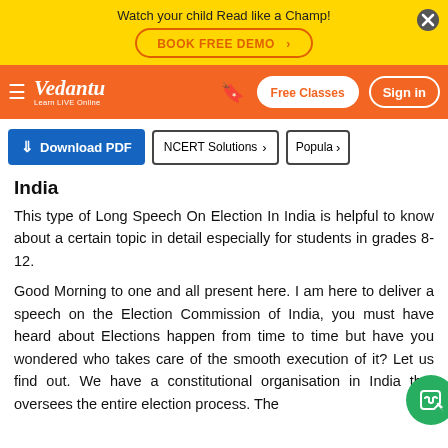Watch your child Read like a Champ! BOOK FREE DEMO >
[Figure (screenshot): Vedantu navigation bar with logo, bookmark icon, Free Classes button, and Sign in button on orange background]
[Figure (screenshot): Toolbar with Download PDF button, NCERT Solutions button, and Popular button]
India
This type of Long Speech On Election In India is helpful to know about a certain topic in detail especially for students in grades 8-12.
Good Morning to one and all present here. I am here to deliver a speech on the Election Commission of India, you must have heard about Elections happen from time to time but have you wondered who takes care of the smooth execution of it? Let us find out. We have a constitutional organisation in India that oversees the entire election process. The